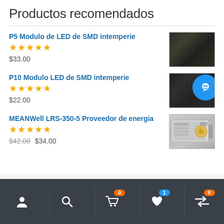Productos recomendados
P5 Modulo de LED de SMD intemperie — ★★★★★ — $33.00
P10 Modulo LED de SMD intemperie — ★★★★★ — $22.00
MEANWell LRS-350-5 Proveedor de energia — ★★★★★ — $42.00 $34.00
Navigation bar: user icon, search icon, cart (0), favorites (1), returns (0)